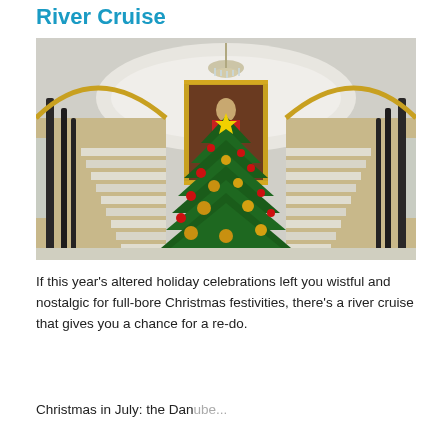River Cruise
[Figure (photo): Grand interior staircase of a river cruise ship decorated for Christmas, featuring ornate wrought-iron railings with gold trim, a large classical portrait painting framed in gold, a decorated Christmas tree with red ribbons and gold ornaments in the foreground, an elaborate white stucco ceiling with an oval relief, and a crystal chandelier overhead.]
If this year's altered holiday celebrations left you wistful and nostalgic for full-bore Christmas festivities, there's a river cruise that gives you a chance for a re-do.
Christmas in July: the Danube...